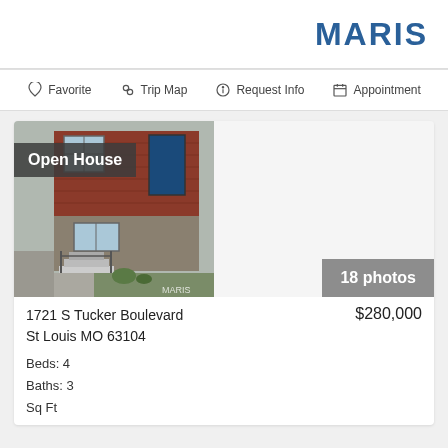[Figure (logo): MARIS logo in blue bold uppercase letters]
Favorite  Trip Map  Request Info  Appointment
[Figure (photo): Exterior photo of a brick house with front steps and small front yard with 'Open House' badge overlay. 'MARIS' watermark in corner.]
18 photos
1721 S Tucker Boulevard
St Louis MO 63104
Beds: 4
Baths: 3
Sq Ft
$280,000